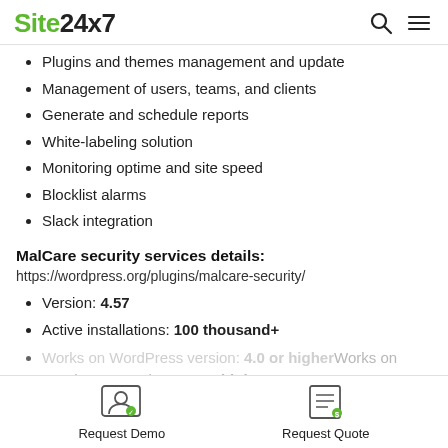Site24x7
Plugins and themes management and update
Management of users, teams, and clients
Generate and schedule reports
White-labeling solution
Monitoring optime and site speed
Blocklist alarms
Slack integration
MalCare security services details:
https://wordpress.org/plugins/malcare-security/
Version: 4.57
Active installations: 100 thousand+
Works on WordPress version: 4.0 or higher
Request Demo   Request Quote